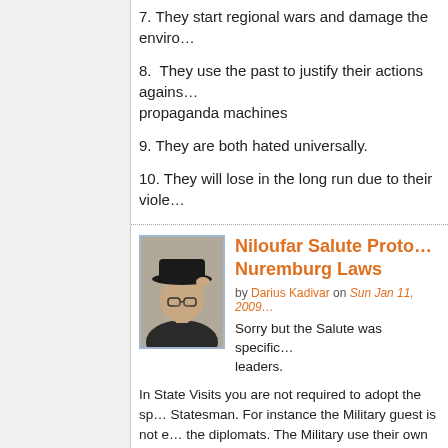7. They start regional wars and damage the enviro…
8.  They use the past to justify their actions agains… propaganda machines
9. They are both hated universally.
10. They will lose in the long run due to their viole…
[Figure (photo): Portrait photo of a man wearing a dark hat and glasses, tilting the brim.]
Niloufar Salute Proto… Nuremburg Laws
by Darius Kadivar on Sun Jan 11, 2009…
Sorry but the Salute was specific… leaders.
In State Visits you are not required to adopt the sp… Statesman. For instance the Military guest is not e… the diplomats. The Military use their own traditiona… Side as a sign of Equality. To Adopt a similar Salu… interpreted as an Alliegance. Nothing wrong in dip… representative shares the same views but otherwi… but Allegiance.
For Instance Petain although collaborating with G… Germany to See Hitler and only saluted him with t… for Diplomats like Chamberlain, Daladier when the… Hitler thinking he won't Attack Poland. None Salv…